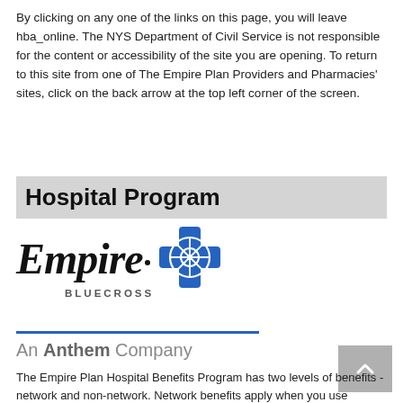By clicking on any one of the links on this page, you will leave hba_online. The NYS Department of Civil Service is not responsible for the content or accessibility of the site you are opening. To return to this site from one of The Empire Plan Providers and Pharmacies' sites, click on the back arrow at the top left corner of the screen.
Hospital Program
[Figure (logo): Empire BlueCross logo — 'Empire' in large italic serif font with a blue cross shield icon, and 'BLUECROSS' in small caps below]
An Anthem Company
The Empire Plan Hospital Benefits Program has two levels of benefits - network and non-network. Network benefits apply when you use hospitals, hospices and skilled nursing facilities that participate in the BlueCross and BlueShield Association's network.